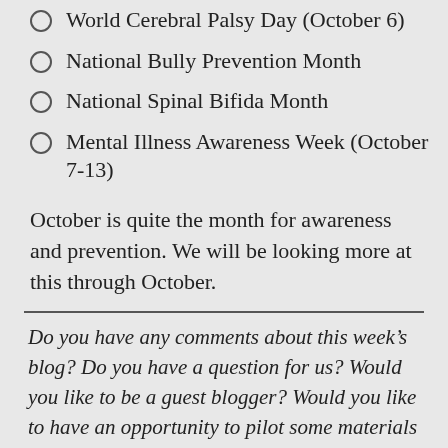World Cerebral Palsy Day (October 6)
National Bully Prevention Month
National Spinal Bifida Month
Mental Illness Awareness Week (October 7-13)
October is quite the month for awareness and prevention. We will be looking more at this through October.
Do you have any comments about this week’s blog? Do you have a question for us? Would you like to be a guest blogger? Would you like to have an opportunity to pilot some materials at your campus? Find ParaEducate online here, here, here, here, and on our website. Paraeducate is a company interested in providing materials, information, and strategies for people working in special education inclusion settings for grades K-